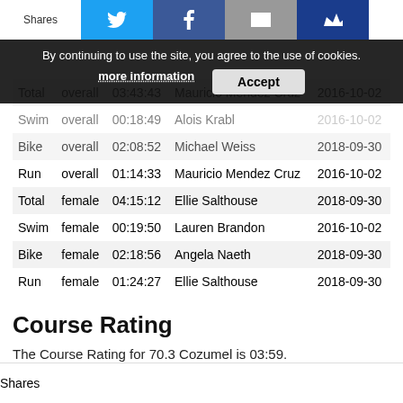Shares [Twitter] [Facebook] [Email] [Crown]
|  |  |  |  |  |
| --- | --- | --- | --- | --- |
| Total | overall | 03:43:43 | Mauricio Mendez Cruz | 2016-10-02 |
| Swim | overall | 00:18:49 | Alois Krabl | 2016-10-02 |
| Bike | overall | 02:08:52 | Michael Weiss | 2018-09-30 |
| Run | overall | 01:14:33 | Mauricio Mendez Cruz | 2016-10-02 |
| Total | female | 04:15:12 | Ellie Salthouse | 2018-09-30 |
| Swim | female | 00:19:50 | Lauren Brandon | 2016-10-02 |
| Bike | female | 02:18:56 | Angela Naeth | 2018-09-30 |
| Run | female | 01:24:27 | Ellie Salthouse | 2018-09-30 |
Course Rating
The Course Rating for 70.3 Cozumel is 03:59.
Race Adjustments for 70.3 Cozumel
| Year | Adjustment | Swim Adj. | Bike Adj. | Run Adj. | # of Finishers | Rating | Swim R. |
| --- | --- | --- | --- | --- | --- | --- | --- |
| 2014 | 05:10 | -00:29 | 05:12 | -07:38 | 20 of 22 | 05:10 | -00:29 |
Shares [Twitter] [Facebook] [Email] [Crown]